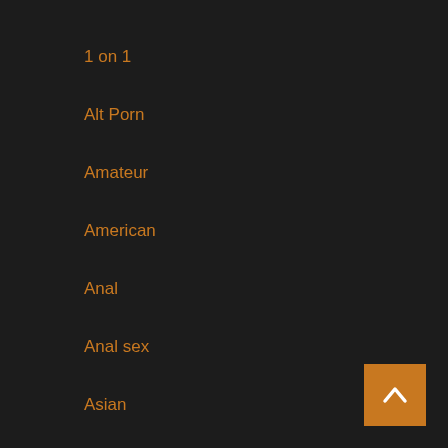1 on 1
Alt Porn
Amateur
American
Anal
Anal sex
Asian
Ass-Butts
Babes
BBW
BBW girls
Bdsm
Behind The Scenes
Big ass
Big Dick
Big tits
Blonde
Blowjob